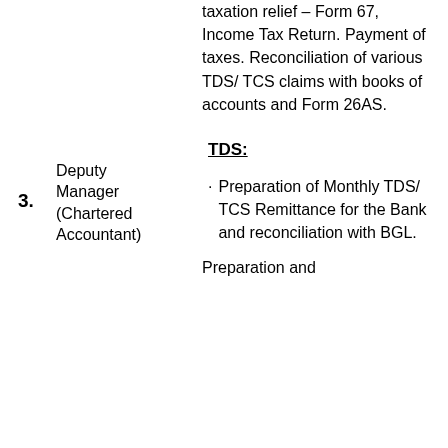taxation relief – Form 67, Income Tax Return. Payment of taxes. Reconciliation of various TDS/ TCS claims with books of accounts and Form 26AS.
3. Deputy Manager (Chartered Accountant)
TDS:
· Preparation of Monthly TDS/ TCS Remittance for the Bank and reconciliation with BGL.
Preparation and